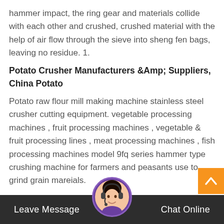hammer impact, the ring gear and materials collide with each other and crushed, crushed material with the help of air flow through the sieve into sheng fen bags, leaving no residue. 1.
Potato Crusher Manufacturers &Amp; Suppliers, China Potato
Potato raw flour mill making machine stainless steel crusher cutting equipment. vegetable processing machines , fruit processing machines , vegetable & fruit processing lines , meat processing machines , fish processing machines model 9fq series hammer type crushing machine for farmers and peasants use to grind grain mareials.
Shredding machine, chipper, wood chipper manufacturer / supplier in china, offering series straw hammer mill, hammer crusher, ms moringa seeds peeling
Leave Message   Chat Online